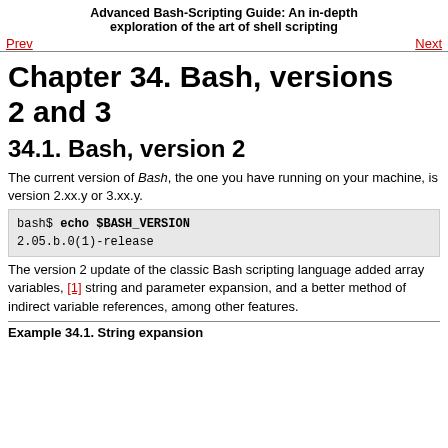Advanced Bash-Scripting Guide: An in-depth exploration of the art of shell scripting
Chapter 34. Bash, versions 2 and 3
34.1. Bash, version 2
The current version of Bash, the one you have running on your machine, is version 2.xx.y or 3.xx.y.
bash$ echo $BASH_VERSION
2.05.b.0(1)-release
The version 2 update of the classic Bash scripting language added array variables, [1] string and parameter expansion, and a better method of indirect variable references, among other features.
Example 34.1. String expansion